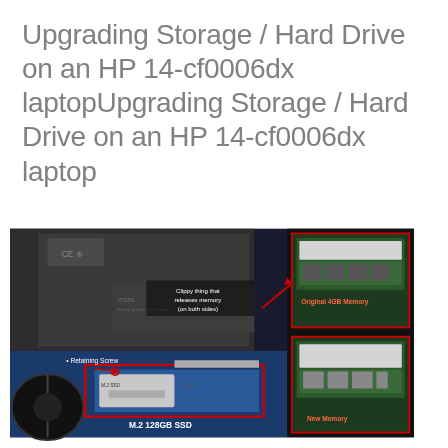Upgrading Storage / Hard Drive on an HP 14-cf0006dx laptopUpgrading Storage / Hard Drive on an HP 14-cf0006dx laptop
[Figure (photo): Interior of an HP 14-cf0006dx laptop showing the motherboard with components labeled. Labels include: 'Clippy thing that releases memory (on both sides)' pointing to a memory slot clip, 'Retaining Screw' pointing to a screw near the M.2 SSD slot, 'M.2 128GB SSD' highlighting the installed M.2 SSD in a red rectangle, 'Original 4GB Memory' showing the existing RAM module in a zoomed inset, and 'New Memory' showing a new RAM module in another inset. Red rectangles and arrows highlight various components.]